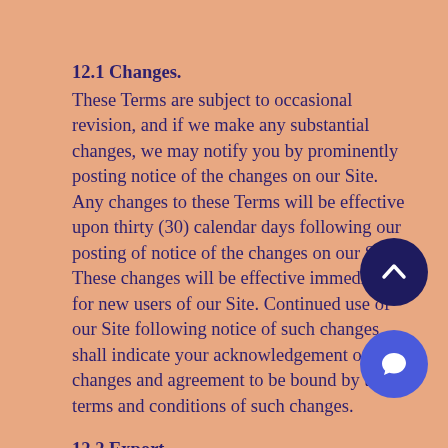12.1 Changes.
These Terms are subject to occasional revision, and if we make any substantial changes, we may notify you by prominently posting notice of the changes on our Site. Any changes to these Terms will be effective upon thirty (30) calendar days following our posting of notice of the changes on our Site. These changes will be effective immediately for new users of our Site. Continued use of our Site following notice of such changes shall indicate your acknowledgement of such changes and agreement to be bound by the terms and conditions of such changes.
12.2 Export.
The Site may be subject to U.S. export control laws and may be subject to export or import regulations in other countries. You agree not to export, re-export, or transfer, directly or indirectly, any U.S.